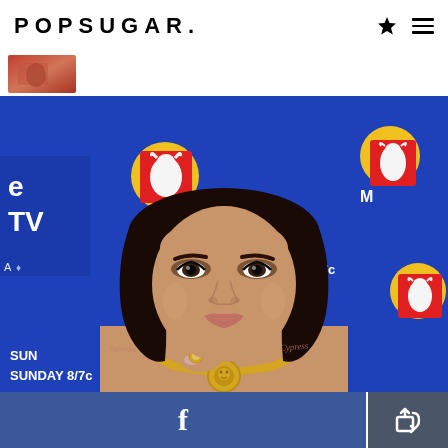POPSUGAR.
[Figure (photo): Thumbnail image of a person at top left below header]
[Figure (photo): Main photo of a young woman with a dark bob haircut wearing a gold Versace chain necklace, posing at an MTV Movie & TV Awards press event in front of a blue branded backdrop. She wears dramatic eye makeup and a strapless outfit. The backdrop shows MTV logos, a bull mascot, and text reading SUNDAY 8/7c.]
Facebook share button and share/export button